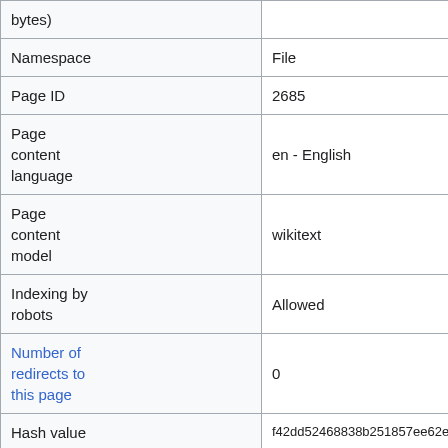| bytes) |  |
| Namespace | File |
| Page ID | 2685 |
| Page content language | en - English |
| Page content model | wikitext |
| Indexing by robots | Allowed |
| Number of redirects to this page | 0 |
| Hash value | f42dd52468838b251857ee62e5ed81352eeb7 |